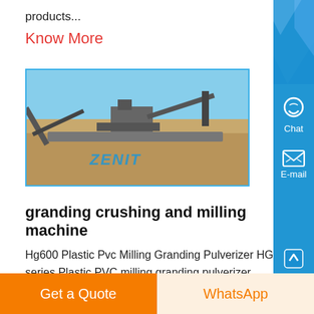products...
Know More
[Figure (photo): Outdoor industrial crushing/mining machinery equipment on sandy terrain with blue sky, branded with ZENIT watermark]
granding crushing and milling machine
Hg600 Plastic Pvc Milling Granding Pulverizer HG series Plastic PVC milling granding pulverizer machine made by Qingdao Heg Wood Plastic Machinery Co, Ltd is mainly used to crush PVC and PE granules of thermoplasticity plastic and rubber The granules can be directly used for wpc extrusion Main Features on Plastic
Get a Quote
WhatsApp